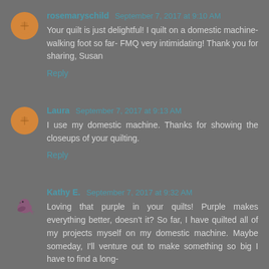rosemaryschild September 7, 2017 at 9:10 AM
Your quilt is just delightful! I quilt on a domestic machine- walking foot so far- FMQ very intimidating! Thank you for sharing, Susan
Reply
Laura September 7, 2017 at 9:13 AM
I use my domestic machine. Thanks for showing the closeups of your quilting.
Reply
Kathy E. September 7, 2017 at 9:32 AM
Loving that purple in your quilts! Purple makes everything better, doesn't it? So far, I have quilted all of my projects myself on my domestic machine. Maybe someday, I'll venture out to make something so big I have to find a long-